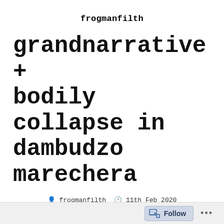frogmanfilth
grandnarrative + bodily collapse in dambudzo marechera
frogmanfilth  11th Feb 2020
Uncategorized
[Figure (photo): Black and white photograph of a young Black man standing outdoors in front of urban buildings, holding what appears to be papers, looking upward. The image is cropped at the bottom of the page.]
Follow ...